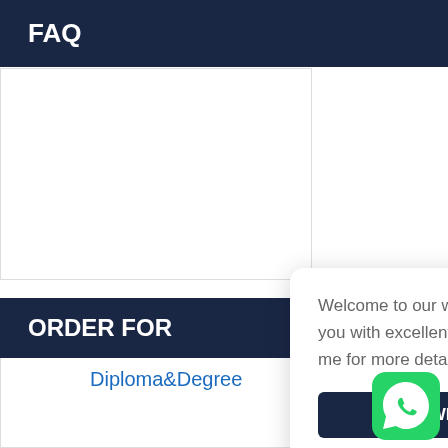FAQ
Process
Shipping
Blog
Emblem
ORDER FOR
Welcome to our website! We will provide you with excellent service, please contact me for more details.
WhatsApp Us
Diploma&Degree